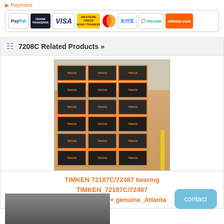Payment
[Figure (infographic): Row of payment method logos: PayPal, Bank Transfer, VISA, Western Union, MasterCard, Alipay (支付宝), WeChat, Alibaba.com]
7208C Related Products »
[Figure (photo): Warehouse shelves stacked with TIMKEN branded dark boxes with orange lettering]
TIMKEN 72187C/72487 bearing TIMKEN_72187C/72487 bearing_Factory + genuine_Atlanta
[Figure (photo): Second product image partially visible at bottom]
contact